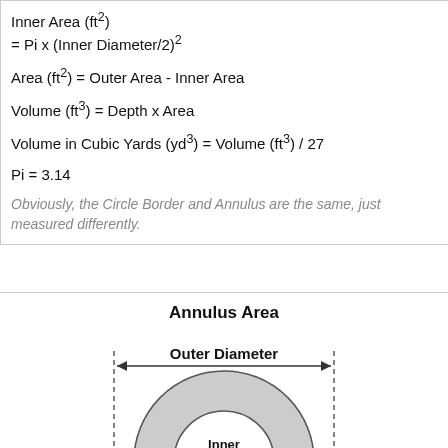Obviously, the Circle Border and Annulus are the same, just measured differently.
Annulus Area
[Figure (engineering-diagram): Diagram of an annulus (ring shape) showing Outer Diameter spanning the full width with dashed lines and arrows, and Inner Diameter spanning the inner circle with arrows. The annulus ring is shaded gray.]